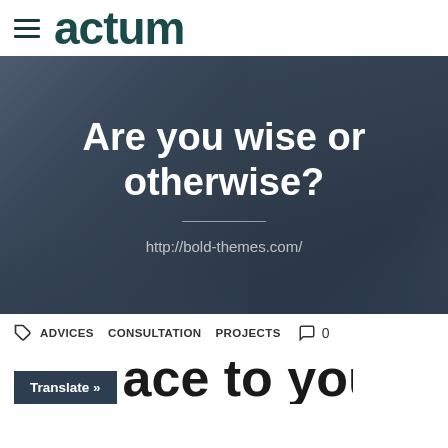actum
[Figure (photo): Business person in suit talking on phone at desk, blue-tinted overlay, with text 'Are you wise or otherwise?' and URL http://bold-themes.com/]
Are you wise or otherwise?
http://bold-themes.com/
ADVICES  CONSULTATION  PROJECTS   0
Translate »
ace to your